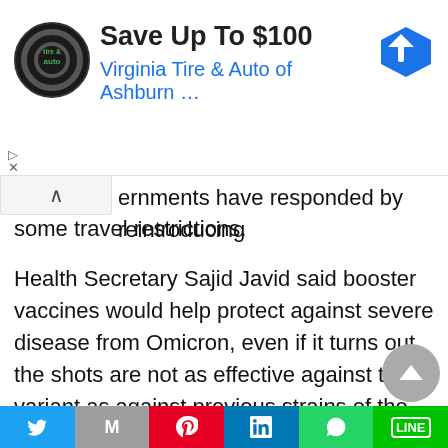[Figure (screenshot): Advertisement banner: Virginia Tire & Auto of Ashburn, Save Up To $100. Shows circular logo on left and blue navigation arrow icon on right.]
ernments have responded by reintroducing some travel restrictions.
Health Secretary Sajid Javid said booster vaccines would help protect against severe disease from Omicron, even if it turns out the shots are not as effective against the variant as against previous strains of the disease.
Government data shows 81% of the population aged over 12 have had two doses of vaccine, while
[Figure (screenshot): Social media share bar at bottom with Twitter, Gmail, Pinterest, LinkedIn, WhatsApp, and Line buttons.]